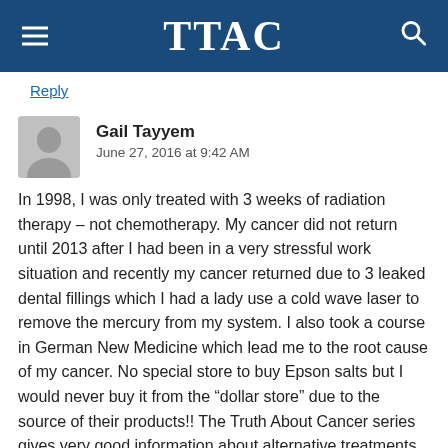TTAC
Reply
Gail Tayyem
June 27, 2016 at 9:42 AM
In 1998, I was only treated with 3 weeks of radiation therapy – not chemotherapy. My cancer did not return until 2013 after I had been in a very stressful work situation and recently my cancer returned due to 3 leaked dental fillings which I had a lady use a cold wave laser to remove the mercury from my system. I also took a course in German New Medicine which lead me to the root cause of my cancer. No special store to buy Epson salts but I would never buy it from the “dollar store” due to the source of their products!! The Truth About Cancer series gives very good information about alternative treatments f…